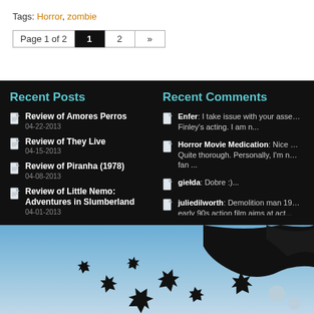Tags: Horror, zombie
Page 1 of 2  1  2  »
Recent Posts
Review of Amores Perros — 04-22-2013
Review of They Live — 04-15-2013
Review of Piranha (1978) — 04-08-2013
Review of Little Nemo: Adventures in Slumberland — 04-01-2013
Review of Oldboy — 03-25-2013
Recent Comments
Enfer: I take issue with your asse… Finley's acting. I am n...
Horror Movie Medication: Nice … Quite thorough. Personally, I'm n… fan ...
giełda: Dobre :)...
juliedilworth: Demolition man 19… early 90s action film aims at act...
Greg: Don, I think you have put a… much thought into this ...
[Figure (photo): Background photo showing autumn leaves (black maple leaf silhouettes) floating against a blue sky, with black fur/feathers visible at top right, and two small grey bubbles.]